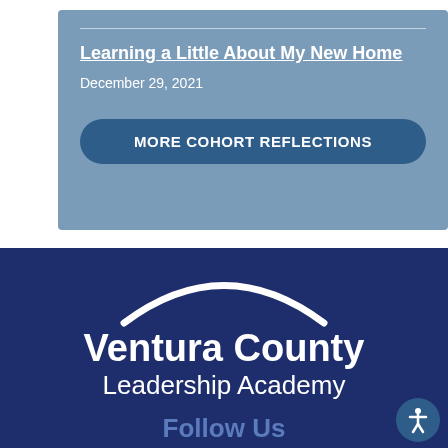Learning a Little About My New Home
December 29, 2021
MORE COHORT REFLECTIONS
[Figure (logo): Ventura County Leadership Academy logo with white arc and text on dark navy background]
Follow Us